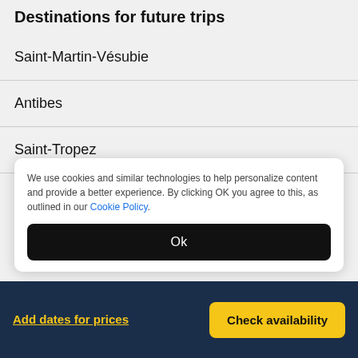Destinations for future trips
Saint-Martin-Vésubie
Antibes
Saint-Tropez
We use cookies and similar technologies to help personalize content and provide a better experience. By clicking OK you agree to this, as outlined in our Cookie Policy.
Ok
Add dates for prices
Check availability